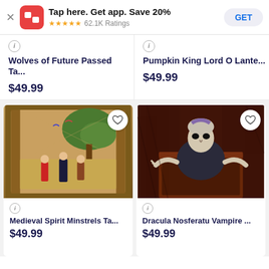Tap here. Get app. Save 20% ★★★★★ 62.1K Ratings GET
Wolves of Future Passed Ta...
$49.99
Pumpkin King Lord O Lante...
$49.99
[Figure (photo): Tapestry showing medieval scene with figures, trees, and birds on aged parchment-like background]
Medieval Spirit Minstrels Ta...
$49.99
[Figure (photo): Tapestry showing Dracula/Nosferatu vampire rising from a coffin in a dark dramatic scene]
Dracula Nosferatu Vampire ...
$49.99